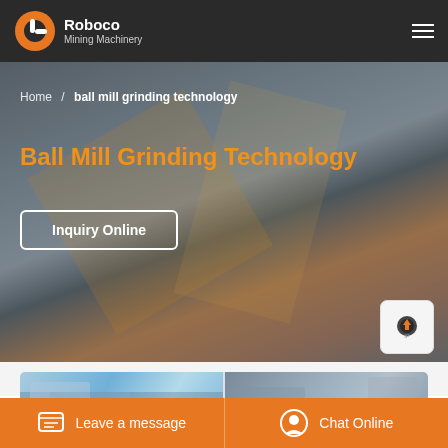Roboco Mining Machinery
Home / ball mill grinding technology
Ball Mill Grinding Technology
Inquiry Online
[Figure (screenshot): Website screenshot showing Roboco Mining Machinery page for Ball Mill Grinding Technology, with a background photo of a female engineer wearing a blue hard hat on an industrial structure with orange and metal framing]
Leave a message
Chat Online